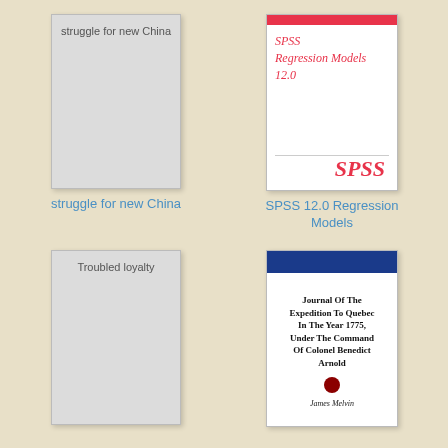[Figure (illustration): Book cover placeholder for 'struggle for new China' - grey rectangle with text]
struggle for new China
[Figure (illustration): SPSS Regression Models 12.0 book cover with red stripe and SPSS logo]
SPSS 12.0 Regression Models
[Figure (illustration): Book cover placeholder for 'Troubled loyalty' - grey rectangle with text]
[Figure (illustration): Journal Of The Expedition To Quebec In The Year 1775, Under The Command Of Colonel Benedict Arnold by James Melvin - white cover with blue stripe]